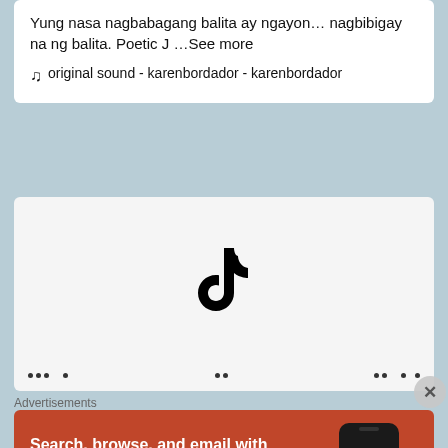Yung nasa nagbabagang balita ay ngayon... nagbibigay na ng balita. Poetic J ...See more
♫  original sound - karenbordador - karenbordador
[Figure (screenshot): TikTok embedded player with TikTok logo centered on a light gray background, with navigation dots/icons along the bottom bar]
Advertisements
[Figure (infographic): DuckDuckGo advertisement banner with orange-red background. Text reads: Search, browse, and email with more privacy. All in One Free App. Shows a smartphone with DuckDuckGo logo and DuckDuckGo. wordmark.]